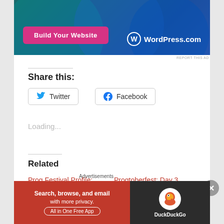[Figure (screenshot): WordPress.com advertisement banner with dark blue/teal gradient background, circles design, pink 'Build Your Website' button, and WordPress.com logo in white]
REPORT THIS AD
Share this:
Twitter
Facebook
Loading...
Related
Prog Festival Profile:
Progtoberfest: Day 3
Advertisements
[Figure (screenshot): DuckDuckGo advertisement: orange/red left panel with 'Search, browse, and email with more privacy. All in One Free App' and dark right panel with DuckDuckGo logo]